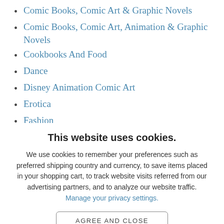Comic Books, Comic Art & Graphic Novels
Comic Books, Comic Art, Animation & Graphic Novels
Cookbooks And Food
Dance
Disney Animation Comic Art
Erotica
Fashion
Federico Fellini
Fi...
This website uses cookies.
We use cookies to remember your preferences such as preferred shipping country and currency, to save items placed in your shopping cart, to track website visits referred from our advertising partners, and to analyze our website traffic. Manage your privacy settings.